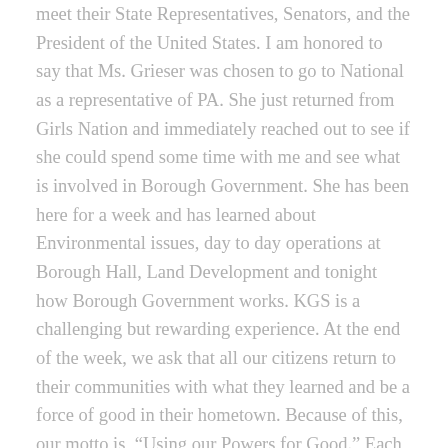meet their State Representatives, Senators, and the President of the United States. I am honored to say that Ms. Grieser was chosen to go to National as a representative of PA. She just returned from Girls Nation and immediately reached out to see if she could spend some time with me and see what is involved in Borough Government. She has been here for a week and has learned about Environmental issues, day to day operations at Borough Hall, Land Development and tonight how Borough Government works. KGS is a challenging but rewarding experience. At the end of the week, we ask that all our citizens return to their communities with what they learned and be a force of good in their hometown. Because of this, our motto is, “Using our Powers for Good.” Each of our citizens has the power to make change in their community; we ask that you be that force for good. If there are any young ladies completing their junior year of HS in the Hatboro Horsham School District listening and are